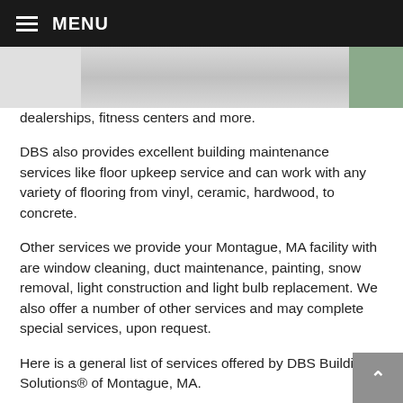MENU
[Figure (photo): Partial view of a ceiling or interior space, light gray, with a green object visible at right edge.]
dealerships, fitness centers and more.
DBS also provides excellent building maintenance services like floor upkeep service and can work with any variety of flooring from vinyl, ceramic, hardwood, to concrete.
Other services we provide your Montague, MA facility with are window cleaning, duct maintenance, painting, snow removal, light construction and light bulb replacement. We also offer a number of other services and may complete special services, upon request.
Here is a general list of services offered by DBS Building Solutions® of Montague, MA.
Janitorial Services